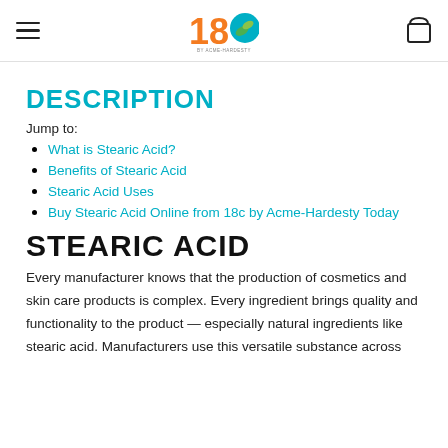18c by Acme-Hardesty logo, navigation menu icon, shopping bag icon
DESCRIPTION
Jump to:
What is Stearic Acid?
Benefits of Stearic Acid
Stearic Acid Uses
Buy Stearic Acid Online from 18c by Acme-Hardesty Today
STEARIC ACID
Every manufacturer knows that the production of cosmetics and skin care products is complex. Every ingredient brings quality and functionality to the product — especially natural ingredients like stearic acid. Manufacturers use this versatile substance across